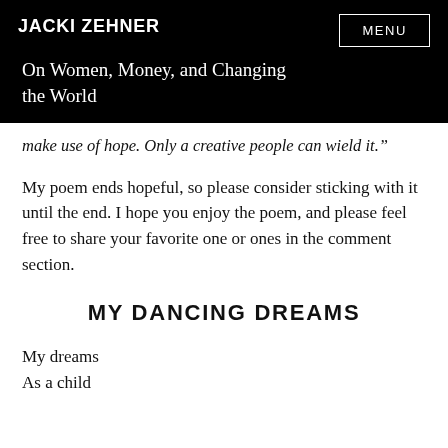JACKI ZEHNER
On Women, Money, and Changing the World
make use of hope. Only a creative people can wield it."
My poem ends hopeful, so please consider sticking with it until the end. I hope you enjoy the poem, and please feel free to share your favorite one or ones in the comment section.
MY DANCING DREAMS
My dreams
As a child